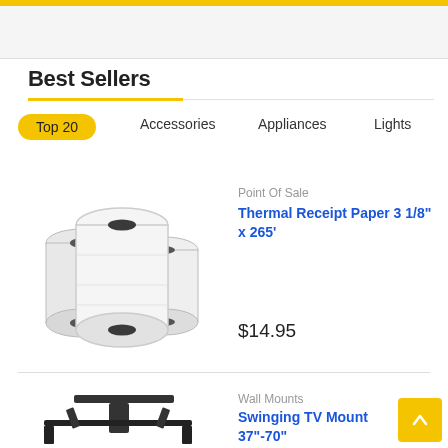Best Sellers
Top 20
Accessories
Appliances
Lights
[Figure (photo): Three rolls of thermal receipt paper]
Point Of Sale
Thermal Receipt Paper 3 1/8" x 265'
$14.95
[Figure (photo): Swinging TV wall mount bracket]
Wall Mounts
Swinging TV Mount 37"-70"